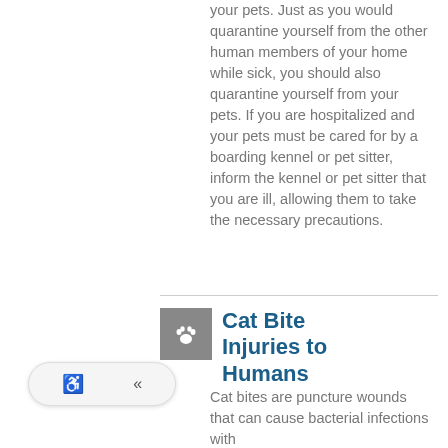your pets. Just as you would quarantine yourself from the other human members of your home while sick, you should also quarantine yourself from your pets. If you are hospitalized and your pets must be cared for by a boarding kennel or pet sitter, inform the kennel or pet sitter that you are ill, allowing them to take the necessary precautions.
Cat Bite Injuries to Humans
Cat bites are puncture wounds that can cause bacterial infections with